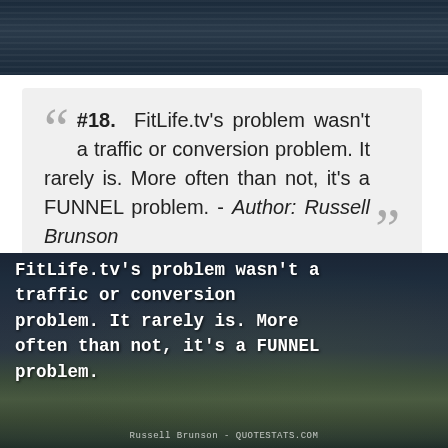[Figure (photo): Dark striped banner image at top of page with dark teal/navy color and horizontal scan lines]
#18. FitLife.tv's problem wasn't a traffic or conversion problem. It rarely is. More often than not, it's a FUNNEL problem. - Author: Russell Brunson
[Figure (photo): Quote image card with rural mountain landscape background (dark, moody). White monospace text reads: FitLife.tv's problem wasn't a traffic or conversion problem. It rarely is. More often than not, it's a FUNNEL problem. Attribution at bottom: Russell Brunson - QUOTESTATS.COM]